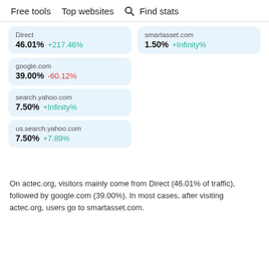Free tools   Top websites   🔍 Find stats
Direct
46.01% +217.46%
smartasset.com
1.50% +Infinity%
google.com
39.00% -60.12%
search.yahoo.com
7.50% +Infinity%
us.search.yahoo.com
7.50% +7.89%
On actec.org, visitors mainly come from Direct (46.01% of traffic), followed by google.com (39.00%). In most cases, after visiting actec.org, users go to smartasset.com.